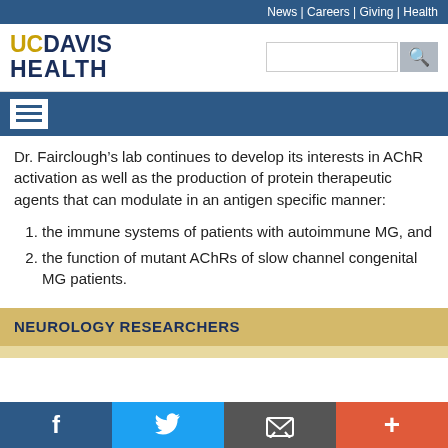News | Careers | Giving | Health
[Figure (logo): UC Davis Health logo with gold and navy text, search bar]
[Figure (other): Hamburger menu icon on dark blue background]
Dr. Fairclough’s lab continues to develop its interests in AChR activation as well as the production of protein therapeutic agents that can modulate in an antigen specific manner:
the immune systems of patients with autoimmune MG, and
the function of mutant AChRs of slow channel congenital MG patients.
NEUROLOGY RESEARCHERS
f  (Twitter bird)  (email icon)  +